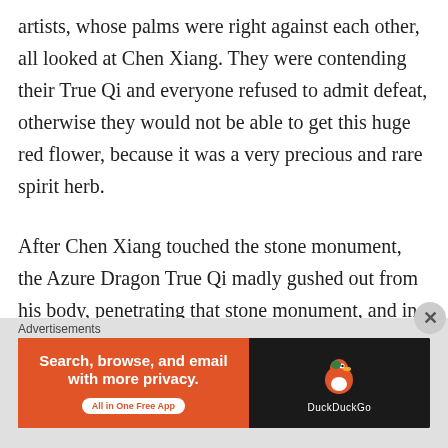artists, whose palms were right against each other, all looked at Chen Xiang. They were contending their True Qi and everyone refused to admit defeat, otherwise they would not be able to get this huge red flower, because it was a very precious and rare spirit herb.
After Chen Xiang touched the stone monument, the Azure Dragon True Qi madly gushed out from his body, penetrating that stone monument, and in only the blink of an eye, that stone monument burst out with an azure light, making those True Martial Realm martial artists very shocked. Just a moment ago they too had touched the stone...
Advertisements
[Figure (other): DuckDuckGo advertisement banner: orange left section with text 'Search, browse, and email with more privacy. All in One Free App' and dark right section with DuckDuckGo duck logo and brand name.]